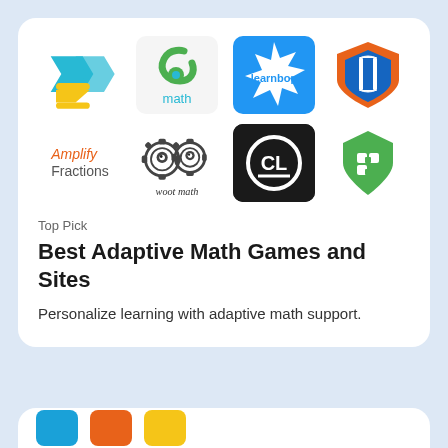[Figure (infographic): Grid of 8 educational math app logos: Zapzapmath (teal/yellow arrow Z), DreamBox Math (green d on gray), LearnBop (white star burst on blue with text), BookWidgets (blue book on orange shield), Amplify Fractions (orange and gray text), Woot Math (gear mascot illustration), CL (white letters on black square), and a green map-pin style icon]
Top Pick
Best Adaptive Math Games and Sites
Personalize learning with adaptive math support.